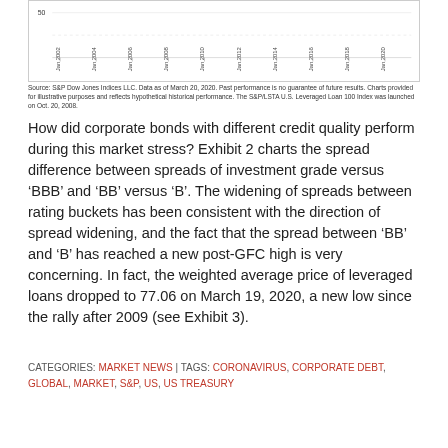[Figure (continuous-plot): A time-series line chart showing data from Jan 2002 to Jan 2020 with y-axis starting at 50. X-axis labels show years from 2002 to 2020 in increments of 2.]
Source: S&P Dow Jones Indices LLC. Data as of March 20, 2020. Past performance is no guarantee of future results. Charts provided for illustrative purposes and reflects hypothetical historical performance. The S&P/LSTA U.S. Leveraged Loan 100 Index was launched on Oct. 20, 2008.
How did corporate bonds with different credit quality perform during this market stress? Exhibit 2 charts the spread difference between spreads of investment grade versus ‘BBB’ and ‘BB’ versus ‘B’. The widening of spreads between rating buckets has been consistent with the direction of spread widening, and the fact that the spread between ‘BB’ and ‘B’ has reached a new post-GFC high is very concerning. In fact, the weighted average price of leveraged loans dropped to 77.06 on March 19, 2020, a new low since the rally after 2009 (see Exhibit 3).
CATEGORIES: MARKET NEWS | TAGS: CORONAVIRUS, CORPORATE DEBT, GLOBAL, MARKET, S&P, US, US TREASURY